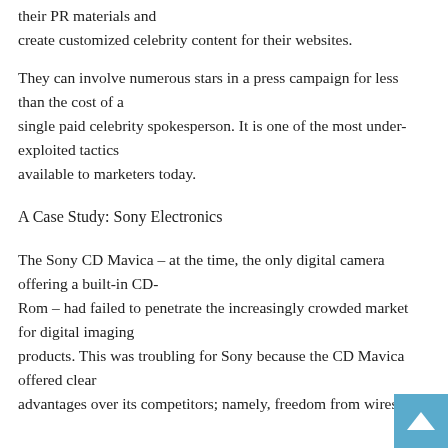their PR materials and create customized celebrity content for their websites.
They can involve numerous stars in a press campaign for less than the cost of a single paid celebrity spokesperson. It is one of the most under-exploited tactics available to marketers today.
A Case Study: Sony Electronics
The Sony CD Mavica – at the time, the only digital camera offering a built-in CD-Rom – had failed to penetrate the increasingly crowded market for digital imaging products. This was troubling for Sony because the CD Mavica offered clear advantages over its competitors; namely, freedom from wires.